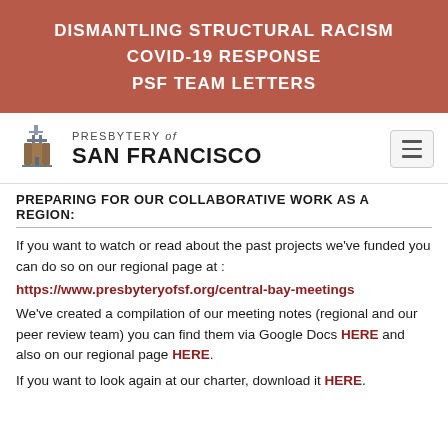DISMANTLING STRUCTURAL RACISM
COVID-19 RESPONSE
PSF TEAM LETTERS
[Figure (logo): Presbytery of San Francisco logo with cross/building icon and text 'PRESBYTERY of SAN FRANCISCO']
PREPARING FOR OUR COLLABORATIVE WORK AS A REGION:
If you want to watch or read about the past projects we've funded you can do so on our regional page at :
https://www.presbyteryofsf.org/central-bay-meetings
We've created a compilation of our meeting notes (regional and our peer review team) you can find them via Google Docs HERE and also on our regional page HERE.
If you want to look again at our charter, download it HERE.